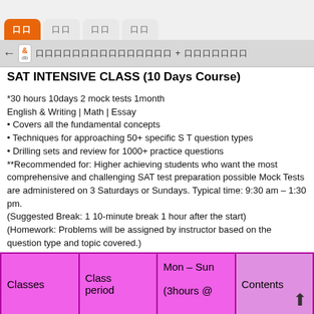SAT INTENSIVE CLASS navigation interface with tabs
SAT INTENSIVE CLASS (10 Days Course)
*30 hours 10days 2 mock tests 1month
English & Writing | Math | Essay
• Covers all the fundamental concepts
• Techniques for approaching 50+ specific S T question types
• Drilling sets and review for 1000+ practice questions
**Recommended for: Higher achieving students who want the most comprehensive and challenging SAT test preparation possible Mock Tests are administered on 3 Saturdays or Sundays. Typical time: 9:30 am – 1:30 pm.
(Suggested Break: 1 10-minute break 1 hour after the start)
(Homework: Problems will be assigned by instructor based on the question type and topic covered.)
Approximate homework time: 1-2 hours per day
| Classes | Class period | Mon – Sun
(3hours @ | Contents |
| --- | --- | --- | --- |